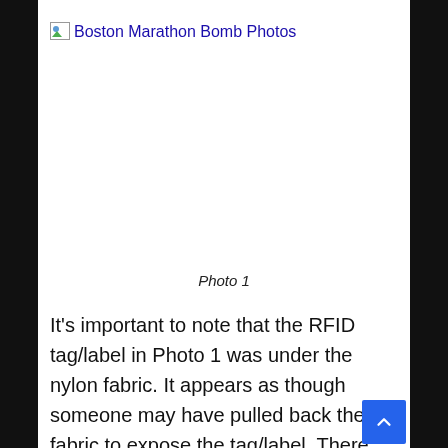[Figure (photo): Broken image placeholder with link text 'Boston Marathon Bomb Photos' as an anchor link; image failed to load, showing browser broken-image icon]
Photo 1
It’s important to note that the RFID tag/label in Photo 1 was under the nylon fabric. It appears as though someone may have pulled back the fabric to expose the tag/label. There